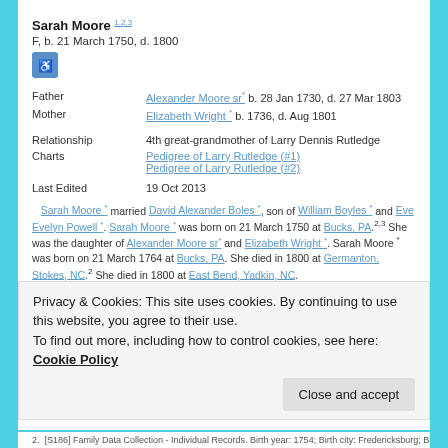Sarah Moore * 1,2,3
F, b. 21 March 1750, d. 1800
[Figure (screenshot): Small blue icon button]
| Father | Alexander Moore sr* b. 28 Jan 1730, d. 27 Mar 1803 |
| Mother | Elizabeth Wright * b. 1736, d. Aug 1801 |
| Relationship | 4th great-grandmother of Larry Dennis Rutledge |
| Charts | Pedigree of Larry Rutledge (#1)
Pedigree of Larry Rutledge (#2) |
| Last Edited | 19 Oct 2013 |
Sarah Moore * married David Alexander Boles *, son of William Boyles * and Eve Evelyn Powell *. Sarah Moore * was born on 21 March 1750 at Bucks, PA.2,3 She was the daughter of Alexander Moore sr* and Elizabeth Wright *. Sarah Moore * was born on 21 March 1764 at Bucks, PA. She died in 1800 at Germanton, Stokes, NC.2 She died in 1800 at East Bend, Yadkin, NC.
| Family | David Alexander Boles * b. 2 Feb 1754 or 58, d. 1798 |
Privacy & Cookies: This site uses cookies. By continuing to use this website, you agree to their use.
To find out more, including how to control cookies, see here: Cookie Policy
Close and accept
2. [S186] Family Data Collection - Individual Records. Birth year: 1754; Birth city: Fredericksburg; Birth state: VA